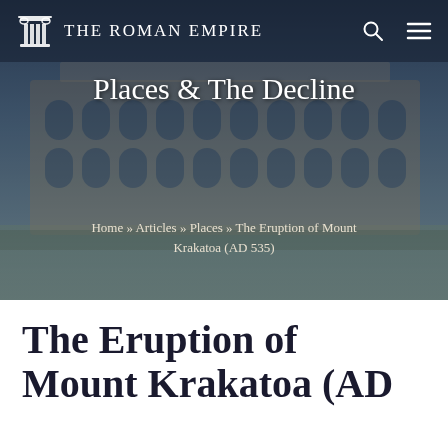THE ROMAN EMPIRE
Places & The Decline
Home » Articles » Places » The Eruption of Mount Krakatoa (AD 535)
The Eruption of Mount Krakatoa (AD